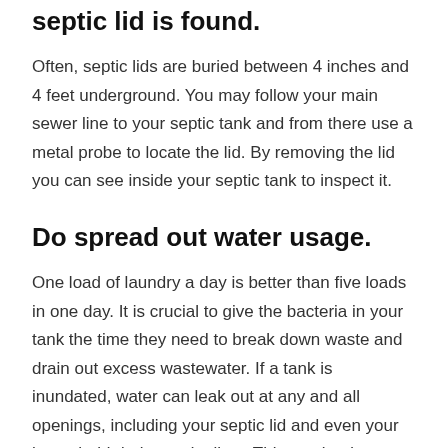septic lid is found.
Often, septic lids are buried between 4 inches and 4 feet underground. You may follow your main sewer line to your septic tank and from there use a metal probe to locate the lid. By removing the lid you can see inside your septic tank to inspect it.
Do spread out water usage.
One load of laundry a day is better than five loads in one day. It is crucial to give the bacteria in your tank the time they need to break down waste and drain out excess wastewater. If a tank is inundated, water can leak out at any and all openings, including your septic lid and even your household drains and toilets. This can lead to